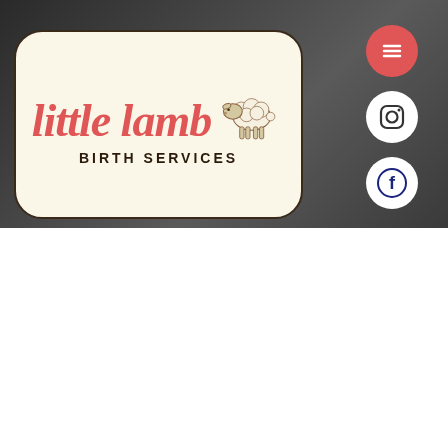[Figure (screenshot): Website screenshot showing Little Lamb Birth Services logo with social media icons (hamburger menu, Instagram, Facebook) on a dark blurred background]
[Figure (screenshot): Blurred middle section of website with italic text 'let's grow together' and blurred photo thumbnails]
[Figure (screenshot): Bottom navigation bar with phone, email, and Facebook icons]